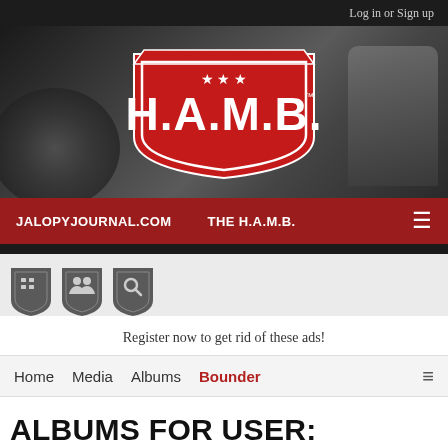Log in or Sign up
[Figure (logo): H.A.M.B. logo on vintage car background banner. Red shield-shaped logo with three stars and H.A.M.B. text in white, trademark symbol. Background shows a black and white vintage car scene.]
JALOPYJOURNAL.COM   THE H.A.M.B.
[Figure (screenshot): Three shield-shaped icon badges for forum navigation icons]
Register now to get rid of these ads!
Home   Media   Albums   Bounder
ALBUMS FOR USER: BOUNDER